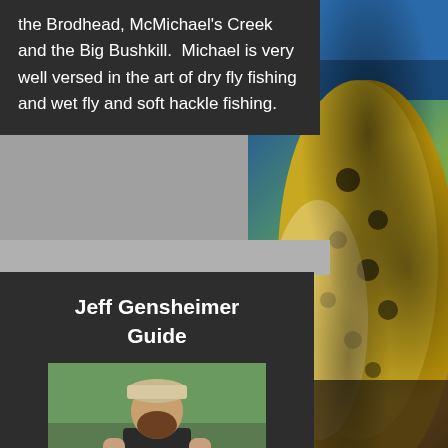the Brodhead, McMichael's Creek and the Big Bushkill.  Michael is very well versed in the art of dry fly fishing and wet fly and soft hackle fishing.
[Figure (photo): Photo of Jeff Gensheimer, a bearded man wearing a cap and waders, kneeling by a river holding a brown trout, with a fishing net visible in the foreground and green trees in the background.]
Jeff Gensheimer
Guide
[Figure (photo): Close-up background photo of a brown trout with spotted markings, showing the fish's belly and dorsal area with a blue blurred background.]